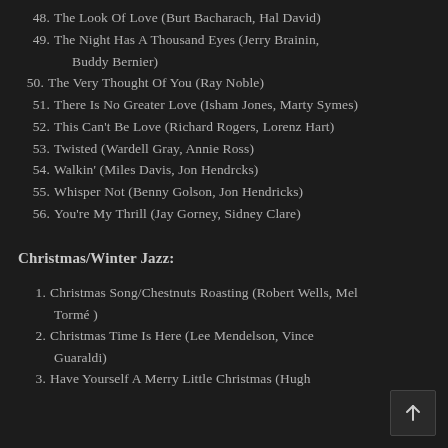48. The Look Of Love (Burt Bacharach, Hal David)
49. The Night Has A Thousand Eyes (Jerry Brainin, Buddy Bernier)
50. The Very Thought Of You (Ray Noble)
51. There Is No Greater Love (Isham Jones, Marty Symes)
52. This Can't Be Love (Richard Rogers, Lorenz Hart)
53. Twisted (Wardell Gray, Annie Ross)
54. Walkin' (Miles Davis, Jon Hendrcks)
55. Whisper Not (Benny Golson, Jon Hendricks)
56. You're My Thrill (Jay Gorney, Sidney Clare)
Christmas/Winter Jazz:
1. Christmas Song/Chestnuts Roasting (Robert Wells, Mel Tormé )
2. Christmas Time Is Here (Lee Mendelson, Vince Guaraldi)
3. Have Yourself A Merry Little Christmas (Hugh